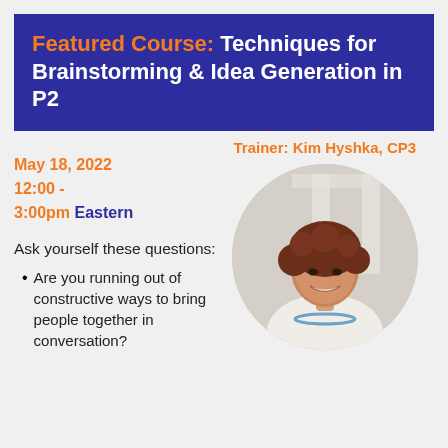Featured Course: Techniques for Brainstorming & Idea Generation in P2
Trainer: Kim Hyshka, CP3
[Figure (photo): Circular portrait photo of a smiling woman with curly auburn hair, wearing a white top and blue beaded necklace, with a bright indoor background.]
May 18, 2022
12:00 -
3:00pm Eastern
Ask yourself these questions:
Are you running out of constructive ways to bring people together in conversation?